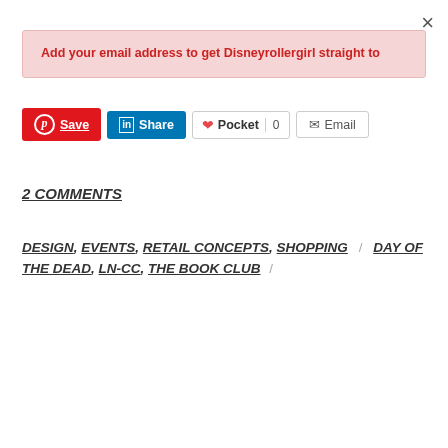×
Add your email address to get Disneyrollergirl straight to
[Figure (screenshot): Social sharing buttons: Pinterest Save, LinkedIn Share, Pocket (0 count), Email]
2 COMMENTS
DESIGN, EVENTS, RETAIL CONCEPTS, SHOPPING / DAY OF THE DEAD, LN-CC, THE BOOK CLUB /